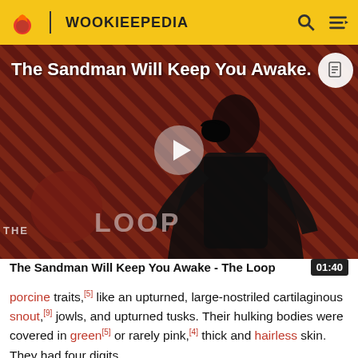WOOKIEEPEDIA
[Figure (screenshot): Video thumbnail for 'The Sandman Will Keep You Awake - The Loop' showing a dramatic figure in black with a raven, red diagonal striped background, play button overlay, and 'THE LOOP' watermark.]
The Sandman Will Keep You Awake - The Loop  01:40
porcine traits,[5] like an upturned, large-nostriled cartilaginous snout,[9] jowls, and upturned tusks. Their hulking bodies were covered in green[5] or rarely pink,[4] thick and hairless skin. They had four digits...